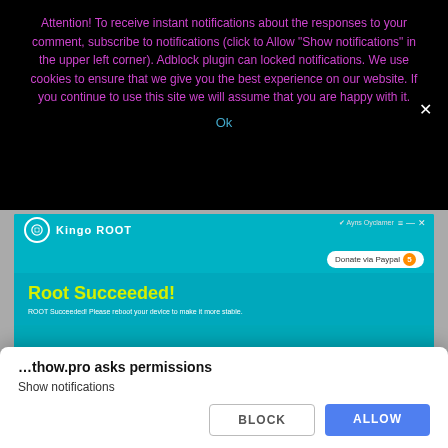Attention! To receive instant notifications about the responses to your comment, subscribe to notifications (click to Allow "Show notifications" in the upper left corner). Adblock plugin can locked notifications. We use cookies to ensure that we give you the best experience on our website. If you continue to use this site we will assume that you are happy with it.
Ok
[Figure (screenshot): Screenshot of Kingo ROOT application showing 'Root Succeeded!' message in yellow text on a teal background, with subtitle 'ROOT Succeeded! Please reboot your device to make it more stable.' The app toolbar shows the Kingo ROOT logo and a 'Donate via Paypal' button.]
…thow.pro asks permissions
Show notifications
BLOCK
ALLOW